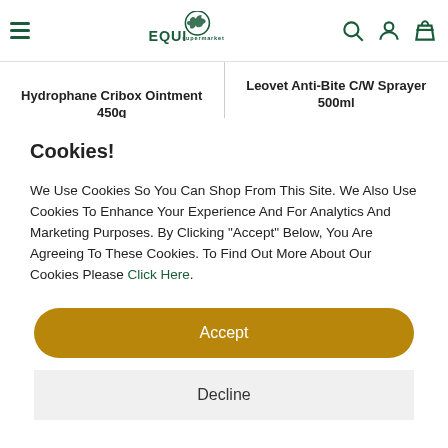EQUI Supermarket — navigation header with hamburger menu, logo, search, account, and basket icons
Hydrophane Cribox Ointment 450g
Leovet Anti-Bite C/W Sprayer 500ml
RRP: £11.50
Cookies!
We Use Cookies So You Can Shop From This Site. We Also Use Cookies To Enhance Your Experience And For Analytics And Marketing Purposes. By Clicking "Accept" Below, You Are Agreeing To These Cookies. To Find Out More About Our Cookies Please Click Here.
Accept
Decline